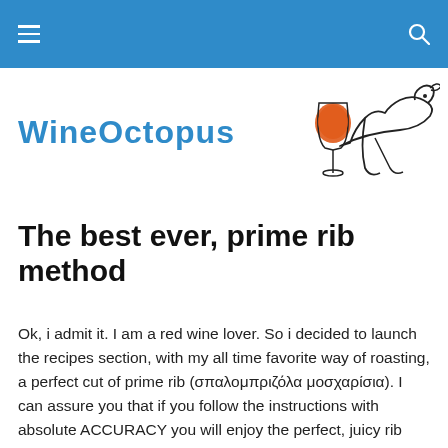WineOctopus navigation header with hamburger menu and search icon
[Figure (logo): WineOctopus logo with illustrated dog/creature holding a wine glass with orange liquid, and the text 'WineOctopus' in blue]
The best ever, prime rib method
Ok, i admit it. I am a red wine lover. So i decided to launch the recipes section, with my all time favorite way of roasting, a perfect cut of prime rib (σπαλομπριζόλα μοσχαρίσια). I can assure you that if you follow the instructions with absolute ACCURACY you will enjoy the perfect, juicy rib eye, equivalent to medium rare, with out a